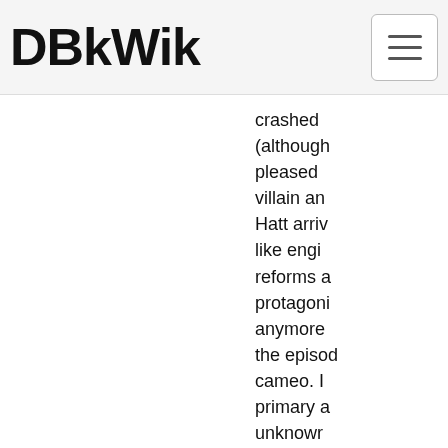DBkWik
crashed (although pleased villain and Hatt arrives like engine reforms a protagonist anymore the episode cameo. primary a unknown he was T unknown
"The Bar sitcom S season,
Cette mé en scène Mulholl